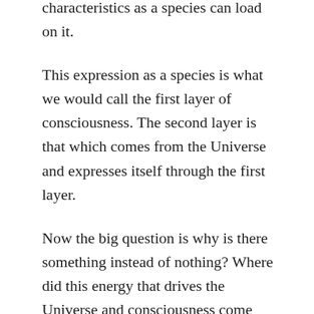characteristics as a species can load on it.
This expression as a species is what we would call the first layer of consciousness. The second layer is that which comes from the Universe and expresses itself through the first layer.
Now the big question is why is there something instead of nothing? Where did this energy that drives the Universe and consciousness come from? Or the multiverse for that matter? It is clearly infinite, but even so, how did it get here? How did it come into being? Is it an infinite loop, where our dreams are the creation and destruction of other universes, and thus we too are the dreams of other